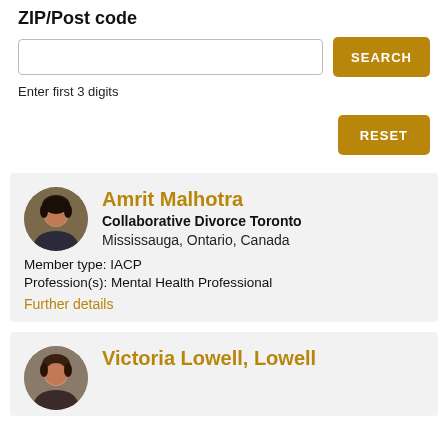ZIP/Post code
Enter first 3 digits
RESET
Amrit Malhotra
Collaborative Divorce Toronto
Mississauga, Ontario, Canada
Member type: IACP
Profession(s): Mental Health Professional
Further details
Victoria Lowell, Lowell